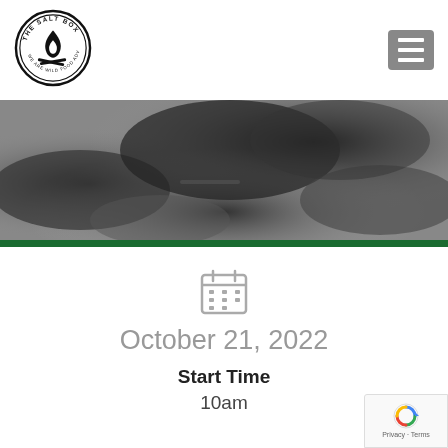[Figure (logo): The Salt Box circular logo with campfire and text 'WE ARE WILD FOOD ADVENTURERS .CO.UK']
[Figure (other): Hamburger menu button (three horizontal lines) in grey square]
[Figure (photo): Dark greyscale watercolour/ink texture banner image]
[Figure (other): Calendar icon (grid of dots in square outline)]
October 21, 2022
Start Time
10am